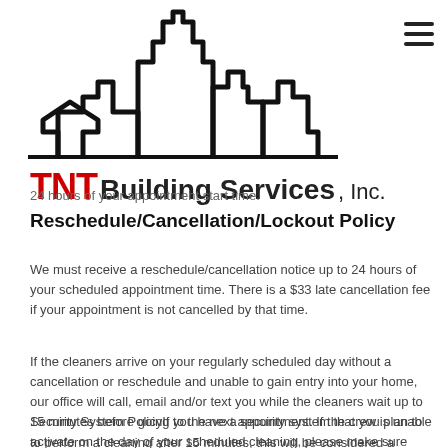[Figure (logo): TNT Building Services, Inc. logo with city skyline outline above red TNT text and bold black Building Services text]
24 hours of your appointment start time.
Reschedule/Cancellation/Lockout Policy
We must receive a reschedule/cancellation notice up to 24 hours of your scheduled appointment time. There is a $33 late cancellation fee if your appointment is not cancelled by that time.
If the cleaners arrive on your regularly scheduled day without a cancellation or reschedule and unable to gain entry into your home, our office will call, email and/or text you while the cleaners wait up to 15 minutes before going to the next appointment. If the crew is unable to perform a cleaning after 15 minutes, this will be considered a lockout which a $33 lockout fee is applied to your account.
Security System PolicyIf you have a security system that you plan to activate on the day of your scheduled cleaning, please make sure that our office have the alarm code ahead of time. This information is kept with our secured files